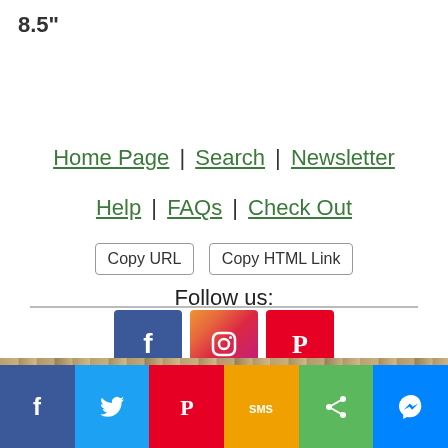8.5"
Home Page | Search | Newsletter
Help | FAQs | Check Out
Copy URL   Copy HTML Link
Follow us:
[Figure (infographic): Three social media icons: Facebook (blue), Instagram (pink/purple gradient), Pinterest (red)]
View our wider selection of Bead Strand products.
Copyright © 2022 The Country Porch®, LLC
sales@thecountryporch.com
[Figure (infographic): Social share bar with 6 buttons: Facebook (blue), Twitter (light blue), Pinterest (red), SMS (yellow), Share (green), Messenger (blue)]